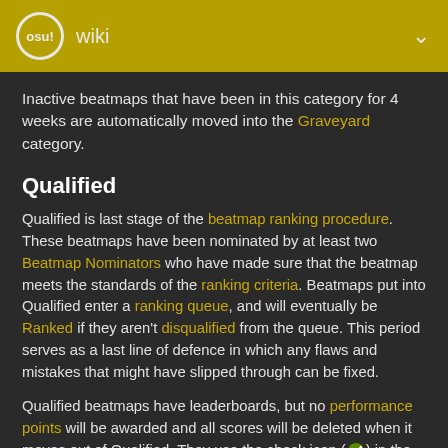osu! wiki
Inactive beatmaps that have been in this category for 4 weeks are automatically moved into the Graveyard category.
Qualified
Qualified is last stage of the beatmap ranking procedure. These beatmaps have been nominated by at least two Beatmap Nominators who have made sure that the beatmap meets the standards of the ranking criteria. Beatmaps put into Qualified enter a ranking queue, and will eventually be Ranked if they aren't disqualified from the queue. This period serves as a last line of defence in which any flaws and mistakes that might have slipped through can be fixed.
Qualified beatmaps have leaderboards, but no performance points will be awarded and all scores will be deleted when it moves out of Qualified. They use the check icon (✔) in the song selection screen.